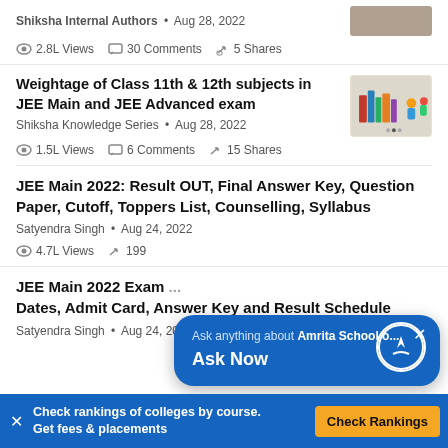Shiksha Internal Authors • Aug 28, 2022
2.8L Views  30 Comments  5 Shares
Weightage of Class 11th & 12th subjects in JEE Main and JEE Advanced exam
Shiksha Knowledge Series • Aug 28, 2022
1.5L Views  6 Comments  15 Shares
JEE Main 2022: Result OUT, Final Answer Key, Question Paper, Cutoff, Toppers List, Counselling, Syllabus
Satyendra Singh • Aug 24, 2022
4.7L Views  199
JEE Main 2022 Exam Dates, Admit Card, Answer Key and Result Schedule
Satyendra Singh • Aug 24, 2022
Ask anything about Amrita School o... Ask Now
Check rankings of colleges by course. Get fees & placements